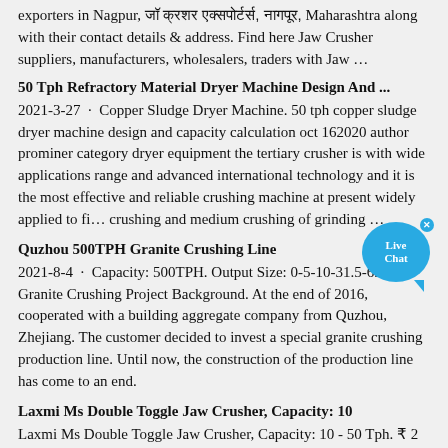exporters in Nagpur, [Marathi text], Nagpur, Maharashtra along with their contact details & address. Find here Jaw Crusher suppliers, manufacturers, wholesalers, traders with Jaw …
50 Tph Refractory Material Dryer Machine Design And ...
2021-3-27 · Copper Sludge Dryer Machine. 50 tph copper sludge dryer machine design and capacity calculation oct 162020 author prominer category dryer equipment the tertiary crusher is with wide applications range and advanced international technology and it is the most effective and reliable crushing machine at present widely applied to fi… crushing and medium crushing of grinding …
Quzhou 500TPH Granite Crushing Line
2021-8-4 · Capacity: 500TPH. Output Size: 0-5-10-31.5-65mm. Granite Crushing Project Background. At the end of 2016, cooperated with a building aggregate company from Quzhou, Zhejiang. The customer decided to invest a special granite crushing production line. Until now, the construction of the production line has come to an end.
Laxmi Ms Double Toggle Jaw Crusher, Capacity: 10
Laxmi Ms Double Toggle Jaw Crusher, Capacity: 10 - 50 Tph. ₹ 2 Lakh Get Latest Price. Usage/Application. Limestone, Sand Stone and Any Type of Minerals Crushing. Type …
200 tph vis 5 mm stone crusher plant price crusher …
200 tph vis 5 mm stone crusher plant price crusher machine